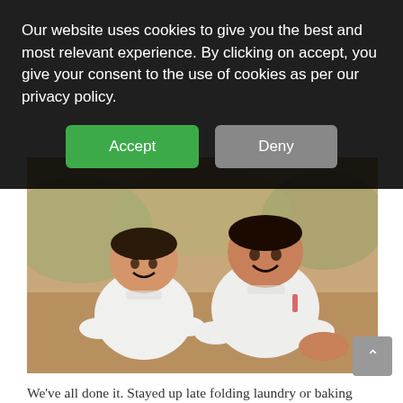Our website uses cookies to give you the best and most relevant experience. By clicking on accept, you give your consent to the use of cookies as per our privacy policy.
Accept
Deny
[Figure (photo): Two young boys smiling, wearing white polo shirts, sitting outdoors on ground with warm earthy tones in background.]
We’ve all done it. Stayed up late folding laundry or baking cookies or otherwise serving our kids.
We’ve also not done it. We’ve been the one to swing by the store and pick up store-bought cookies instead of baking cupcakes ourselves.
We’ve also completely forgotten to send the treats.
Before my husband died, I was so organized and never